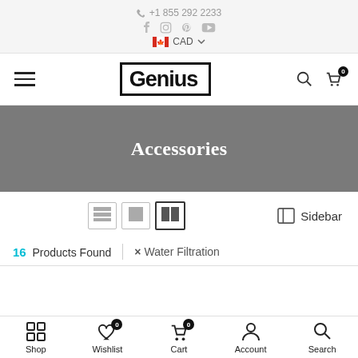+1 855 292 2233 | Social icons | CAD currency selector
[Figure (logo): Genius brand logo in bold block letters with border]
Accessories
16 Products Found | × Water Filtration
Shop | Wishlist 0 | Cart 0 | Account | Search